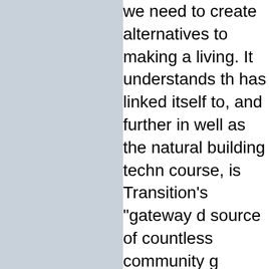we need to create alternatives to making a living. It understands that has linked itself to, and further in well as the natural building techn course, is Transition's "gateway d source of countless community g among its allies revolutionary far Larson, and Chris Smaje, along w
But in its great imaginings, Trans logic and sense of entitlement tha lives, where we find the dreams a be happy and rewarding. It has a hearts caused by a culture based declares, The Transition Handbo it understands that wants and de change and that true powered-do lives. I am merely suggesting tha attempt our revolution in expecta atheist grope in that direction? In